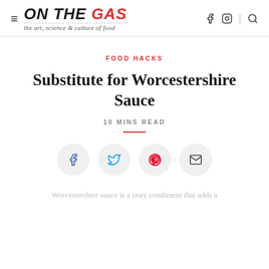ON THE GAS — the art, science & culture of food
FOOD HACKS
Substitute for Worcestershire Sauce
10 MINS READ
[Figure (other): Social share buttons: Facebook, Twitter, Pinterest, Email]
Worcestershire sauce is a tasty condiment that adds a